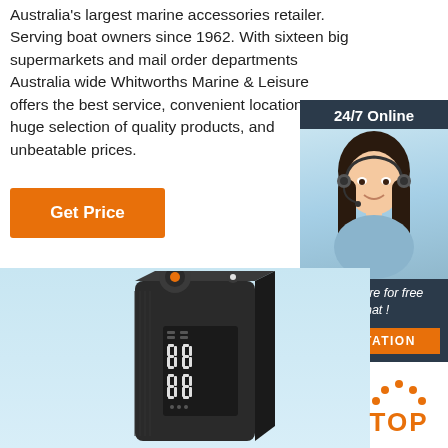Australia's largest marine accessories retailer. Serving boat owners since 1962. With sixteen big supermarkets and mail order departments Australia wide Whitworths Marine & Leisure offers the best service, convenient locations, a huge selection of quality products, and unbeatable prices.
Get Price
[Figure (infographic): Chat widget with dark navy background showing '24/7 Online' header, a photo of a smiling woman wearing a headset, text 'Click here for free chat!' and an orange QUOTATION button]
[Figure (photo): Black rectangular device (power bank or similar electronics) with LED digital display showing numbers, and a circular fan/speaker grille on top, on a light blue background]
[Figure (logo): Orange 'TOP' logo with dotted arch above the text]